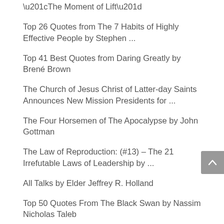“The Moment of Lift”
Top 26 Quotes from The 7 Habits of Highly Effective People by Stephen ...
Top 41 Best Quotes from Daring Greatly by Brené Brown
The Church of Jesus Christ of Latter-day Saints Announces New Mission Presidents for ...
The Four Horsemen of The Apocalypse by John Gottman
The Law of Reproduction: (#13) – The 21 Irrefutable Laws of Leadership by ...
All Talks by Elder Jeffrey R. Holland
Top 50 Quotes From The Black Swan by Nassim Nicholas Taleb